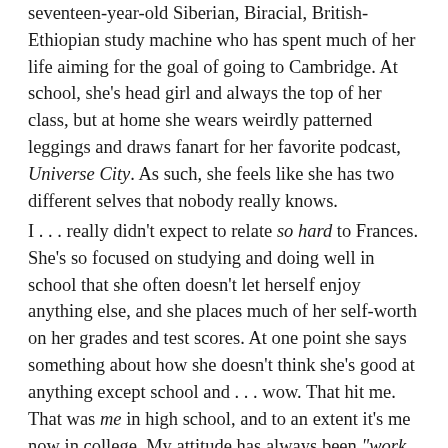seventeen-year-old Siberian, Biracial, British-Ethiopian study machine who has spent much of her life aiming for the goal of going to Cambridge. At school, she's head girl and always the top of her class, but at home she wears weirdly patterned leggings and draws fanart for her favorite podcast, Universe City. As such, she feels like she has two different selves that nobody really knows.
I . . . really didn't expect to relate so hard to Frances. She's so focused on studying and doing well in school that she often doesn't let herself enjoy anything else, and she places much of her self-worth on her grades and test scores. At one point she says something about how she doesn't think she's good at anything except school and . . . wow. That hit me. That was me in high school, and to an extent it's me now in college. My attitude has always been "work hard now and it'll all pay off and someday you'll get to enjoy it," but eventually the someday is going to be now and I'm going to have to figure out who I am outside of school and grades and almost like I...